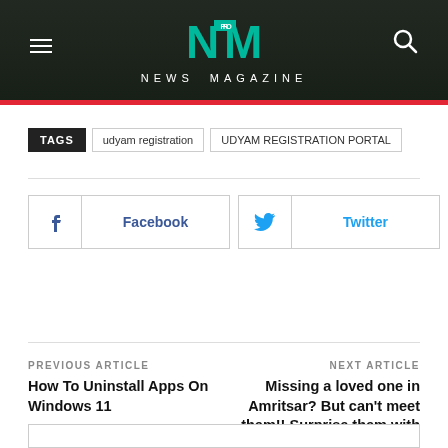NM PRO NEWS MAGAZINE
TAGS  udyam registration  UDYAM REGISTRATION PORTAL
[Figure (infographic): Social share buttons: Facebook, Twitter, and a plus button]
PREVIOUS ARTICLE
How To Uninstall Apps On Windows 11
NEXT ARTICLE
Missing a loved one in Amritsar? But can't meet them!! Surprise them with flowers and gifts.